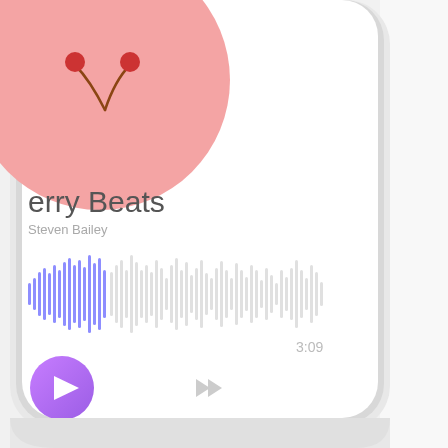[Figure (screenshot): Music player app UI shown inside a smartphone mockup. The screen shows a pink album art circle with a cherry motif, song title 'erry Beats' (Cherry Beats, partially cropped), artist name 'Steven Bailey', a waveform visualization with blue filled bars on the left and gray unfilled bars on the right, a time display of '3:09', a purple circular play button with a triangle icon, and a forward skip button. The phone is silver/white and positioned slightly left of center, with white background on the right side.]